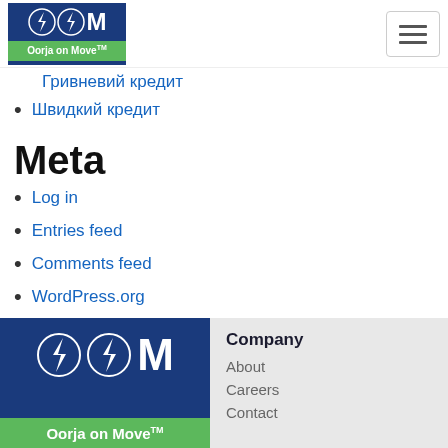Oorja on Move logo and hamburger menu
Гривневий кредит
Швидкий кредит
Meta
Log in
Entries feed
Comments feed
WordPress.org
[Figure (logo): Oorja on Move logo with blue background and green bar]
Company
About
Careers
Contact